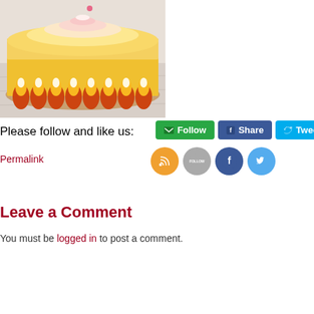[Figure (photo): Close-up photo of a cake decorated with candy corn around the edge, with yellow and orange frosting, on a light wooden surface.]
Please follow and like us:
[Figure (infographic): Social sharing buttons: green Follow button with email icon, blue Facebook Share button, light blue Tweet button, and a partial red Pinterest button. Below are circular social icons: RSS (orange), Follow (gray), Facebook (blue), Twitter (light blue).]
Permalink
Leave a Comment
You must be logged in to post a comment.